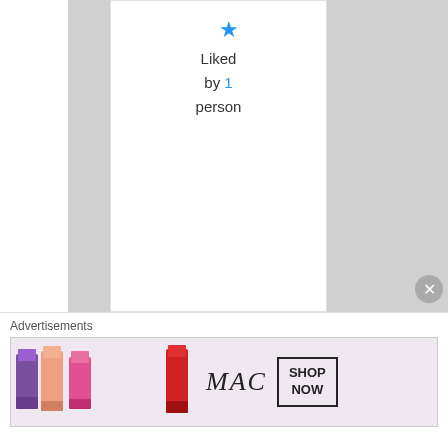Liked by 1 person
eightyape on February 20, 2016 at 11:13 pm said:
[Figure (illustration): Cartoon monster avatar for user eightyape - pink creature with antlers on light pink background]
no one on earth knows me or what i have... i can bring
Advertisements
[Figure (photo): MAC Cosmetics advertisement banner showing colorful lipsticks and MAC logo with SHOP NOW button]